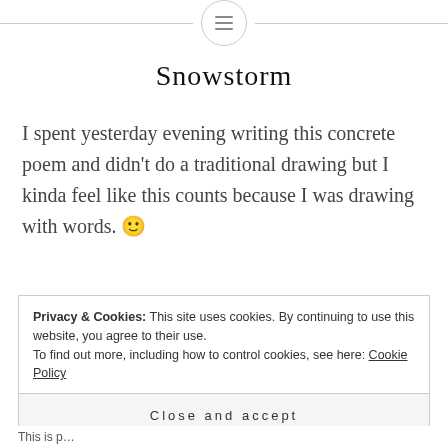[menu icon in circle with horizontal lines]
Snowstorm
I spent yesterday evening writing this concrete poem and didn't do a traditional drawing but I kinda feel like this counts because I was drawing with words. 🙂
Privacy & Cookies: This site uses cookies. By continuing to use this website, you agree to their use.
To find out more, including how to control cookies, see here: Cookie Policy
Close and accept
This is p…